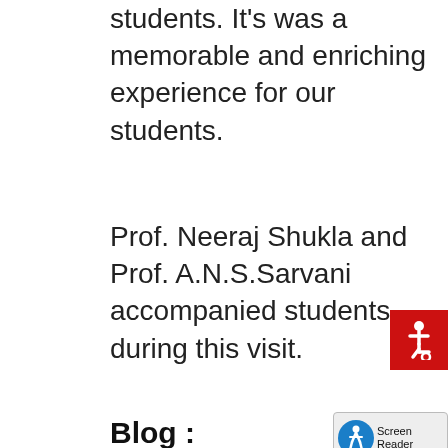students. It's was a memorable and enriching experience for our students.
Prof. Neeraj Shukla and Prof. A.N.S.Sarvani accompanied students during this visit.
Blog :
This year our department started a blog – ANDREAN TECH TALK – for our students to express their literary skills, to